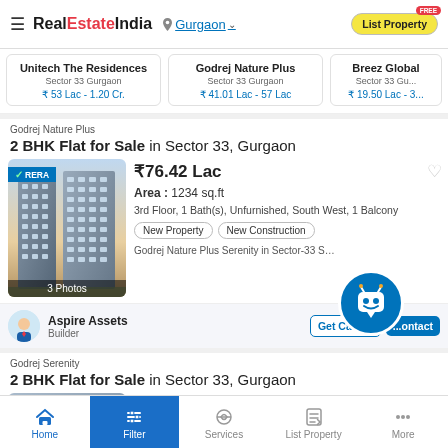RealEstateIndia — Gurgaon — List Property
Unitech The Residences | Sector 33 Gurgaon | ₹ 53 Lac - 1.20 Cr.
Godrej Nature Plus | Sector 33 Gurgaon | ₹ 41.01 Lac - 57 Lac
Breez Global | Sector 33 Gu... | ₹ 19.50 Lac - 3...
Godrej Nature Plus
2 BHK Flat for Sale in Sector 33, Gurgaon
[Figure (photo): Photo of Godrej Nature Plus building with RERA badge, showing tall residential towers at dusk. Labels: 3 Photos, RERA badge.]
₹76.42 Lac
Area : 1234 sq.ft
3rd Floor, 1 Bath(s), Unfurnished, South West, 1 Balcony
New Property   New Construction
Godrej Nature Plus Serenity in Sector-33 Sohna, Gurgaon b
Aspire Assets
Builder
Get Callb... ontact
Godrej Serenity
2 BHK Flat for Sale in Sector 33, Gurgaon
Home | Filter | Services | List Property | More